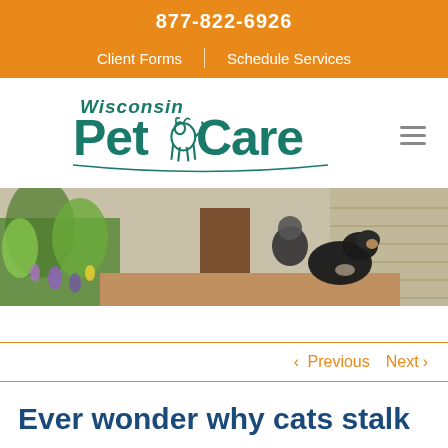877-822-6926
Client Forms | Schedule Services
[Figure (logo): Wisconsin Pet Care logo with teal text and animal illustrations]
[Figure (photo): Person hugging a large Bernese Mountain Dog on a porch with garden flowers]
< Previous   Next >
Ever wonder why cats stalk